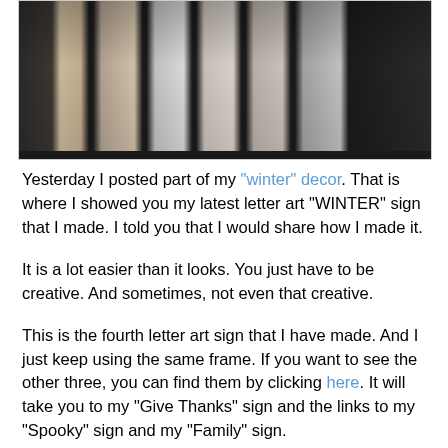[Figure (photo): A black-framed multi-panel photo display spelling 'WINTER' using letter art photography — each panel contains a photo of an object or scene shaped like a letter. The frame is shown from the top portion only, set against a light background.]
Yesterday I posted part of my "winter" decor. That is where I showed you my latest letter art "WINTER" sign that I made. I told you that I would share how I made it.
It is a lot easier than it looks. You just have to be creative. And sometimes, not even that creative.
This is the fourth letter art sign that I have made. And I just keep using the same frame. If you want to see the other three, you can find them by clicking here. It will take you to my "Give Thanks" sign and the links to my "Spooky" sign and my "Family" sign.
First you need to find a frame. I originally got my frame from Kohl's, for about $10.00. It was on sale for 50% off, plus I had an additional 15% off coupon. This particular frame has